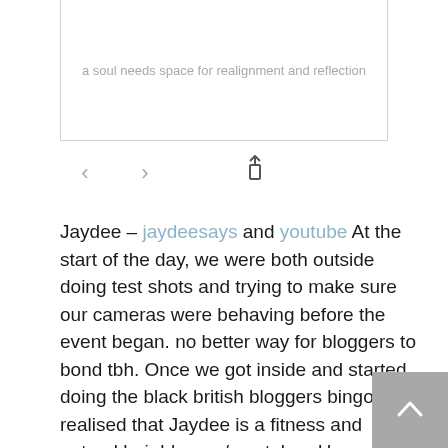a soul needs space for realignment and reflection
[Figure (screenshot): Navigation bar with back arrow, forward arrow, and share/upload icon]
Jaydee – jaydeesays and youtube
At the start of the day, we were both outside doing test shots and trying to make sure our cameras were behaving before the event began. no better way for bloggers to bond tbh. Once we got inside and started doing the black british bloggers bingo i realised that Jaydee is a fitness and natural hair blogger/ youtuber. Her posts give me so much life and fitness inspo and her natural hair documentation is beautiful. go follow her on everything x